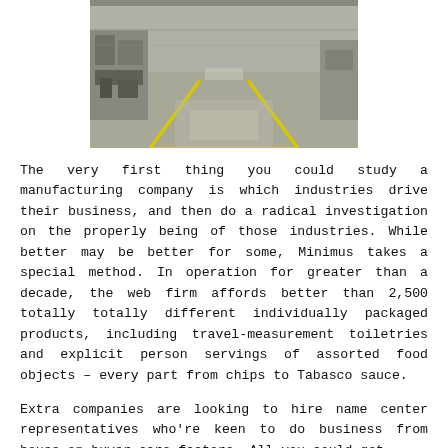[Figure (photo): Interior of a warehouse or manufacturing facility with a wide aisle, yellow lane markings on a shiny concrete floor, and machinery visible on the left side.]
The very first thing you could study a manufacturing company is which industries drive their business, and then do a radical investigation on the properly being of those industries. While better may be better for some, Minimus takes a special method. In operation for greater than a decade, the web firm affords better than 2,500 totally totally different individually packaged products, including travel-measurement toiletries and explicit person servings of assorted food objects – every part from chips to Tabasco sauce.
Extra companies are looking to hire name center representatives who're keen to do business from house on buyer care factors. All you could get